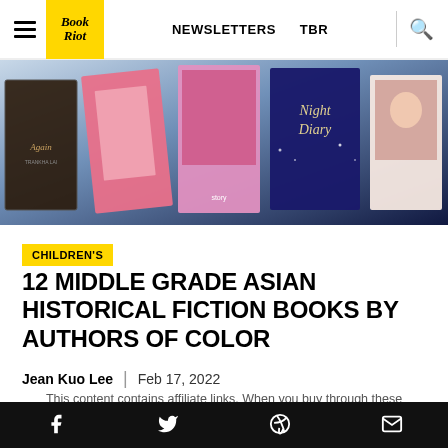Book Riot | NEWSLETTERS | TBR
[Figure (photo): Hero image showing several book covers including 'Again' by Trankha Lai and 'Night Diary', arranged in a collage on a dark blue background]
CHILDREN'S
12 MIDDLE GRADE ASIAN HISTORICAL FICTION BOOKS BY AUTHORS OF COLOR
Jean Kuo Lee | Feb 17, 2022
This content contains affiliate links. When you buy through these links, we may earn an affiliate commission.
Social share icons: Facebook, Twitter, Pinterest, Email